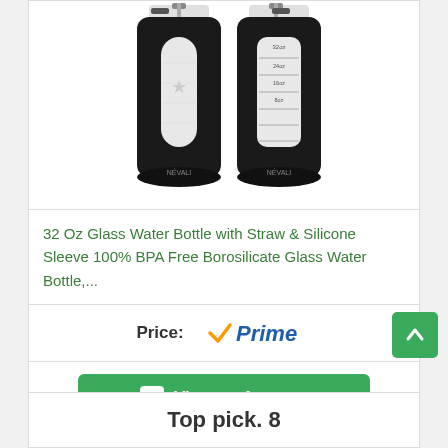[Figure (photo): Two black glass water bottles with silicone sleeves and straws, shown from front and side angles]
32 Oz Glass Water Bottle with Straw & Silicone Sleeve 100% BPA Free Borosilicate Glass Water Bottle,...
Price:
[Figure (logo): Amazon Prime logo with orange checkmark and blue italic Prime text]
[Figure (other): Green View on Amazon button with Amazon 'a' icon]
[Figure (other): Green scroll-to-top button with upward arrow]
Top pick. 8